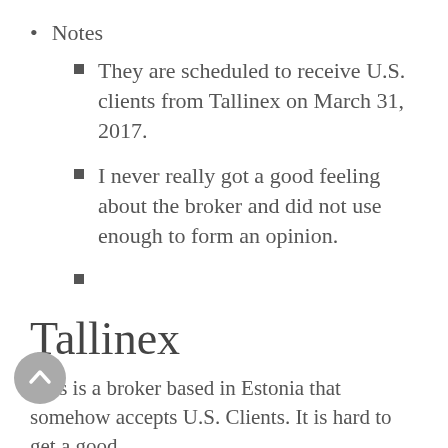Notes
They are scheduled to receive U.S. clients from Tallinex on March 31, 2017.
I never really got a good feeling about the broker and did not use enough to form an opinion.
Tallinex
This is a broker based in Estonia that somehow accepts U.S. Clients. It is hard to get a good